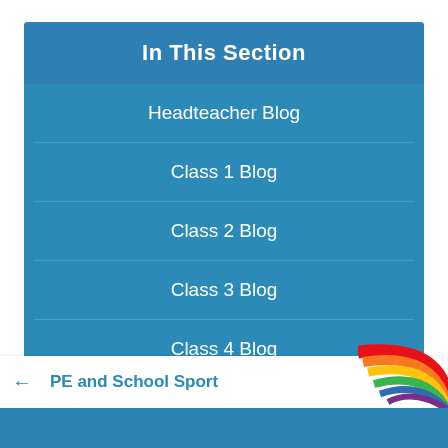In This Section
Headteacher Blog
Class 1 Blog
Class 2 Blog
Class 3 Blog
Class 4 Blog
PE and School Sport
[Figure (illustration): Rainbow illustration visible at bottom right corner]